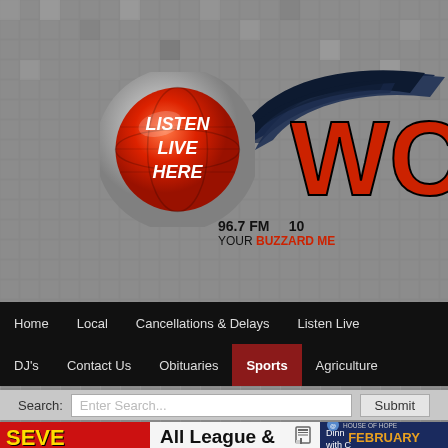[Figure (screenshot): Radio station website screenshot for WCVI/WC 96.7 FM 'Your Buzzard Media' with Listen Live Here button, wing logo, navigation bar including Home, Local, Cancellations & Delays, Listen Live, DJ's, Contact Us, Obituaries, Sports (active), Agriculture, search bar, and partial article title 'All League & Conference Teams'. Left sidebar shows Severe Weather Alert ad in red/yellow. Right sidebar shows blue House of Hope event ad with FEBRUARY text.]
Listen Live Here
96.7 FM   10
YOUR BUZZARD ME
Home  Local  Cancellations & Delays  Listen Live  DJ's  Contact Us  Obituaries  Sports  Agriculture
Search:  Enter Search...  Submit
All League & Conference Teams
SEVE WEAT ALE
Dinn with C KEN FEBRUARY